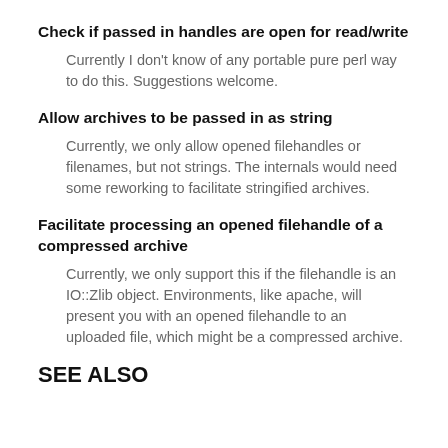Check if passed in handles are open for read/write
Currently I don't know of any portable pure perl way to do this. Suggestions welcome.
Allow archives to be passed in as string
Currently, we only allow opened filehandles or filenames, but not strings. The internals would need some reworking to facilitate stringified archives.
Facilitate processing an opened filehandle of a compressed archive
Currently, we only support this if the filehandle is an IO::Zlib object. Environments, like apache, will present you with an opened filehandle to an uploaded file, which might be a compressed archive.
SEE ALSO